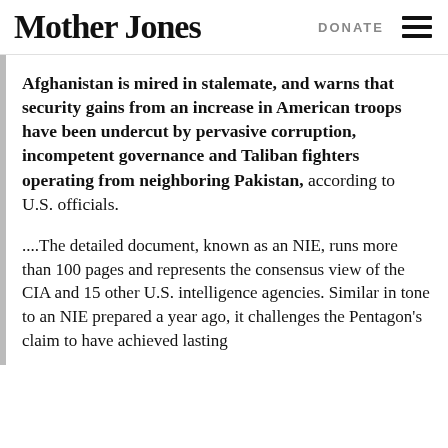Mother Jones | DONATE
Afghanistan is mired in stalemate, and warns that security gains from an increase in American troops have been undercut by pervasive corruption, incompetent governance and Taliban fighters operating from neighboring Pakistan, according to U.S. officials.
....The detailed document, known as an NIE, runs more than 100 pages and represents the consensus view of the CIA and 15 other U.S. intelligence agencies. Similar in tone to an NIE prepared a year ago, it challenges the Pentagon's claim to have achieved lasting